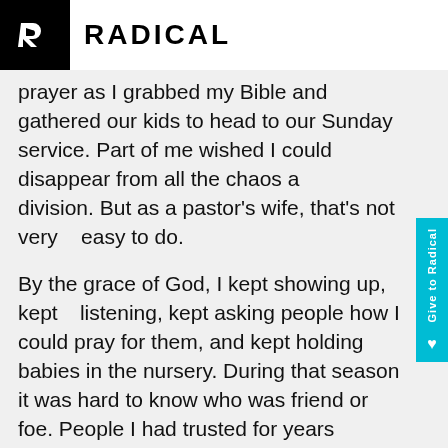RADICAL
prayer as I grabbed my Bible and gathered our kids to head to our Sunday service. Part of me wished I could disappear from all the chaos and division. But as a pastor's wife, that's not very easy to do.
By the grace of God, I kept showing up, kept listening, kept asking people how I could pray for them, and kept holding babies in the nursery. During that season it was hard to know who was friend or foe. People I had trusted for years suddenly turned on me. Opening up to anyone was painful and risky. It was easier just to ask others questions, to focus on their needs